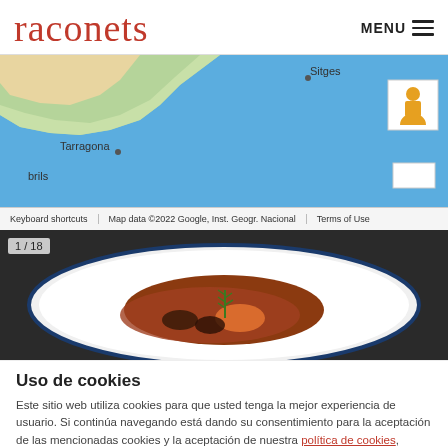raconets  MENU
[Figure (map): Google Maps screenshot showing coastal area near Tarragona and Sitges in Spain, with sea in blue and land in green/beige. Labels: Sitges, Tarragona, brils. Map footer: Keyboard shortcuts | Map data ©2022 Google, Inst. Geogr. Nacional | Terms of Use]
[Figure (photo): Food photo showing a stew dish in a white bowl with blue rim, garnished with rosemary. Photo counter 1/18 shown in top-left.]
Uso de cookies
Este sitio web utiliza cookies para que usted tenga la mejor experiencia de usuario. Si continúa navegando está dando su consentimiento para la aceptación de las mencionadas cookies y la aceptación de nuestra política de cookies, pinche el enlace para mayor información.
ACEPTAR